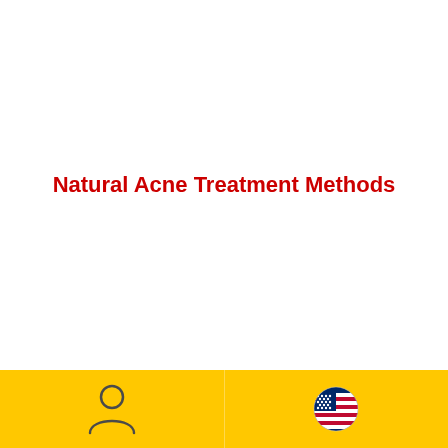Natural Acne Treatment Methods
[Figure (illustration): User/person icon outline in dark gray]
[Figure (illustration): US flag circular icon]